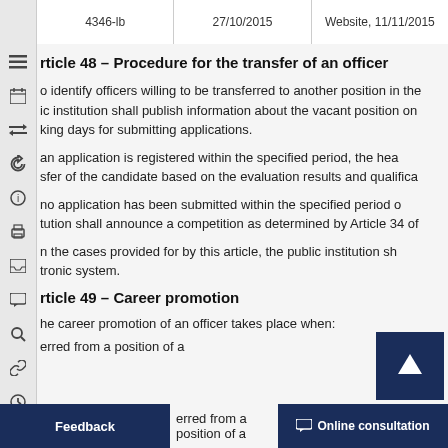4346-lb | 27/10/2015 | Website, 11/11/2015
Article 48 – Procedure for the transfer of an officer
…to identify officers willing to be transferred to another position in the…ic institution shall publish information about the vacant position on…king days for submitting applications.
…an application is registered within the specified period, the head…sfer of the candidate based on the evaluation results and qualifica…
…no application has been submitted within the specified period o…tution shall announce a competition as determined by Article 34 of…
…n the cases provided for by this article, the public institution sh…tronic system.
Article 49 – Career promotion
…he career promotion of an officer takes place when:
…erred from a position of a … a…
Feedback | Online consultation